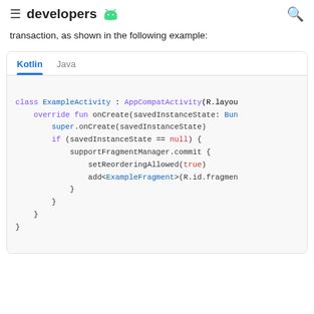developers
transaction, as shown in the following example:
[Figure (screenshot): Code snippet card with Kotlin and Java tabs showing Kotlin code for ExampleActivity class with onCreate method, supportFragmentManager.commit block, setReorderingAllowed(true), and add<ExampleFragment>]